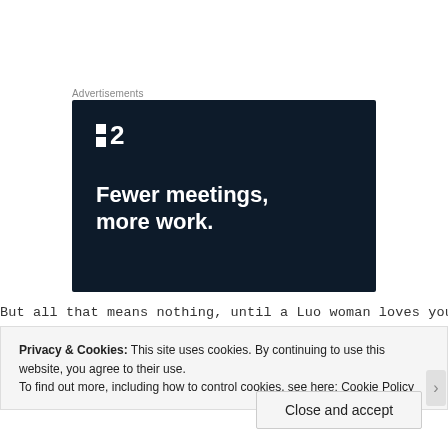Advertisements
[Figure (illustration): Dark navy advertisement banner for a project management tool showing a logo with two squares and '2', and the tagline 'Fewer meetings, more work.' in bold white text on a dark background.]
But all that means nothing, until a Luo woman loves you
Privacy & Cookies: This site uses cookies. By continuing to use this website, you agree to their use.
To find out more, including how to control cookies, see here: Cookie Policy
Close and accept